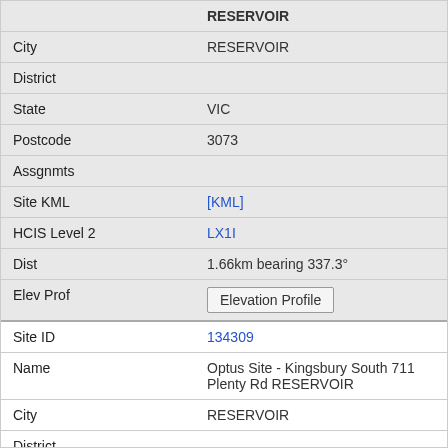| Field | Value |
| --- | --- |
|  | RESERVOIR |
| City | RESERVOIR |
| District |  |
| State | VIC |
| Postcode | 3073 |
| Assgnmts |  |
| Site KML | [KML] |
| HCIS Level 2 | LX1I |
| Dist | 1.66km bearing 337.3° |
| Elev Prof | Elevation Profile |
| Site ID | 134309 |
| Name | Optus Site - Kingsbury South 711 Plenty Rd RESERVOIR |
| City | RESERVOIR |
| District |  |
| State | VIC |
| Postcode | 3073 |
| Assgnmts | 47 |